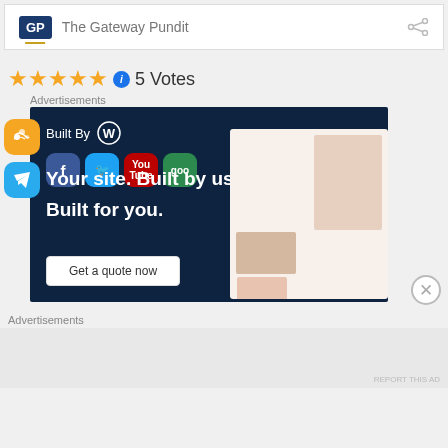GP The Gateway Pundit
★★★★★ ℹ 5 Votes
Advertisements
[Figure (screenshot): WordPress 'Built By' advertisement with dark navy background. Shows social media icons (Facebook, Twitter, YouTube, Google+), text 'Your site. Built by us. Built for you.' and a 'Get a quote now' button. Also shows RSS and Telegram icons on the left side, and a website mockup on the right.]
Advertisements